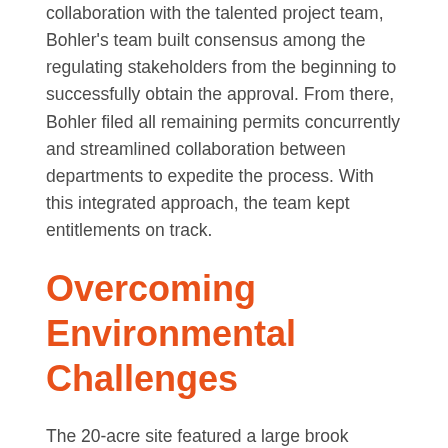collaboration with the talented project team, Bohler's team built consensus among the regulating stakeholders from the beginning to successfully obtain the approval. From there, Bohler filed all remaining permits concurrently and streamlined collaboration between departments to expedite the process. With this integrated approach, the team kept entitlements on track.
Overcoming Environmental Challenges
The 20-acre site featured a large brook running through the back of the property and was home to several endangered species. Both elements limited development to 10 acres, a fairly limited window to accommodate a sizeable project.
Bohler's team worked with Granite Commercial and the